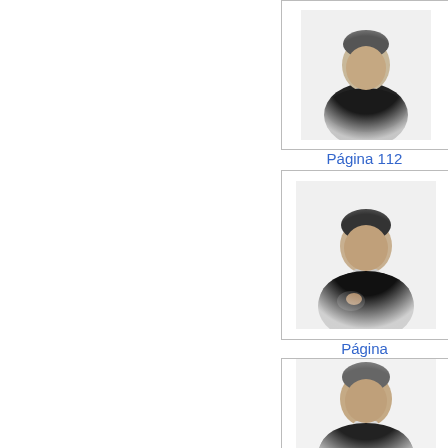[Figure (illustration): Black and white engraved portrait of a man in dark clerical robes, upper body, facing slightly right]
Página 112
[Figure (illustration): Black and white engraved portrait of a person in dark clothing, seated, facing slightly left, hands visible]
Página
[Figure (illustration): Black and white engraved portrait of a man in clerical robes, upper body, partially visible at bottom of page]